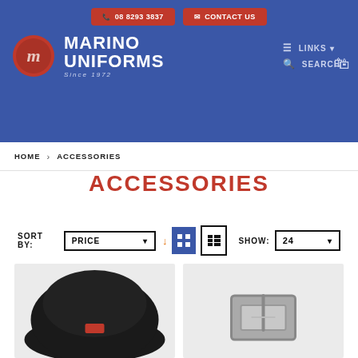[Figure (screenshot): Marino Uniforms website header with blue background, red wax seal logo, brand name, navigation links, phone and contact buttons]
HOME > ACCESSORIES
ACCESSORIES
SORT BY: PRICE ▼ [grid] [list] SHOW: 24
[Figure (photo): Black beanie hat with small red label]
[Figure (photo): Silver belt buckle accessory]